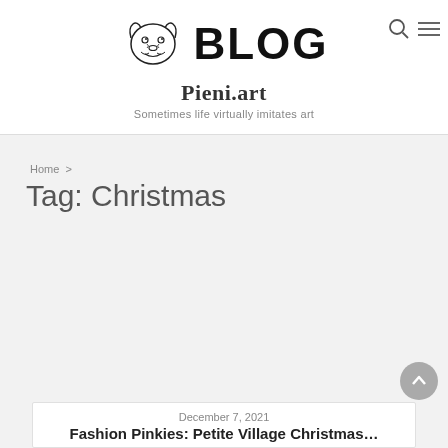[Figure (logo): Chihuahua/dog face line art logo next to bold BLOG text, with site title Pieni.art and tagline below]
Pieni.art
Sometimes life virtually imitates art
Home > Tag: Christmas
Tag: Christmas
December 7, 2021
Fashion Pinkies: Petite Village Christmas...